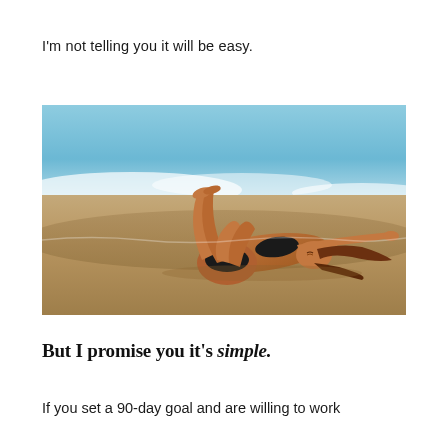I'm not telling you it will be easy.
[Figure (photo): A woman in a black bikini lying on a beach with knees bent, arms stretched above her head, with ocean waves in the background.]
But I promise you it's simple.
If you set a 90-day goal and are willing to work